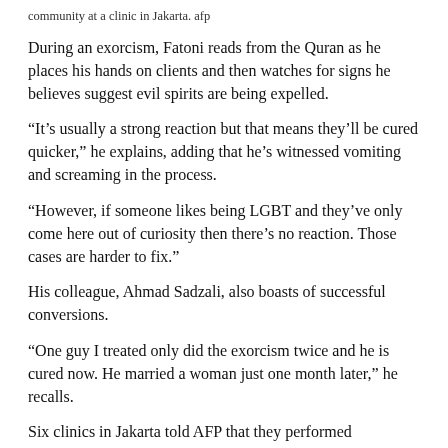community at a clinic in Jakarta. afp
During an exorcism, Fatoni reads from the Quran as he places his hands on clients and then watches for signs he believes suggest evil spirits are being expelled.
“It’s usually a strong reaction but that means they’ll be cured quicker,” he explains, adding that he’s witnessed vomiting and screaming in the process.
“However, if someone likes being LGBT and they’ve only come here out of curiosity then there’s no reaction. Those cases are harder to fix.”
His colleague, Ahmad Sadzali, also boasts of successful conversions.
“One guy I treated only did the exorcism twice and he is cured now. He married a woman just one month later,” he recalls.
Six clinics in Jakarta told AFP that they performed exorcisms that would “cure” LGBT clients, although none openly advertised the treatment.
“How long have you been suffering the disease?” one shop owner asks over the telephone, before reminding the caller